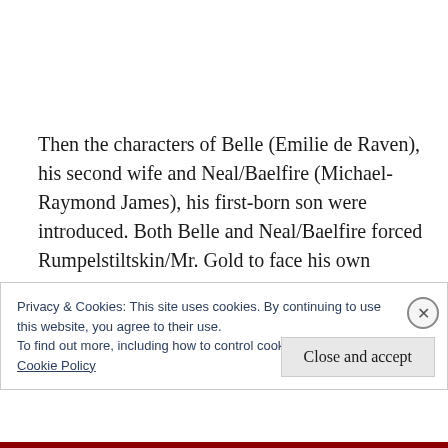Then the characters of Belle (Emilie de Raven), his second wife and Neal/Baelfire (Michael-Raymond James), his first-born son were introduced. Both Belle and Neal/Baelfire forced Rumpelstiltskin/Mr. Gold to face his own demons, his choices and his past.
Privacy & Cookies: This site uses cookies. By continuing to use this website, you agree to their use.
To find out more, including how to control cookies, see here:
Cookie Policy